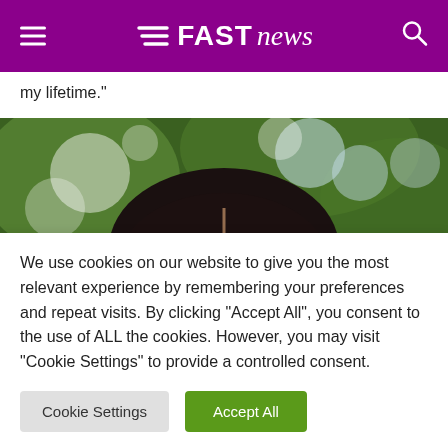Fast News
my lifetime."
[Figure (photo): Close-up photo of the top of a person's head showing hair with a center part, against a blurred green and white bokeh background.]
We use cookies on our website to give you the most relevant experience by remembering your preferences and repeat visits. By clicking "Accept All", you consent to the use of ALL the cookies. However, you may visit "Cookie Settings" to provide a controlled consent.